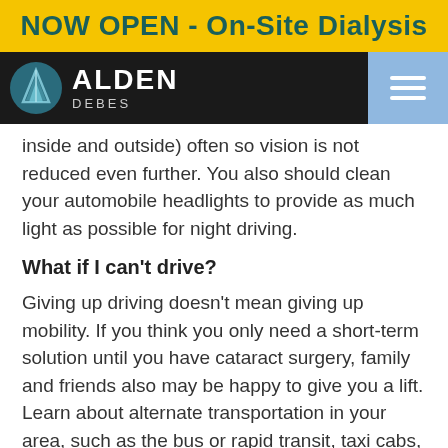NOW OPEN - On-Site Dialysis
[Figure (logo): Alden Debes logo with teal circular icon and white text on black navigation bar with light blue hamburger menu button]
inside and outside) often so vision is not reduced even further. You also should clean your automobile headlights to provide as much light as possible for night driving.
What if I can't drive?
Giving up driving doesn't mean giving up mobility. If you think you only need a short-term solution until you have cataract surgery, family and friends also may be happy to give you a lift. Learn about alternate transportation in your area, such as the bus or rapid transit, taxi cabs, ridesharing services or transportation provided by your senior living community.